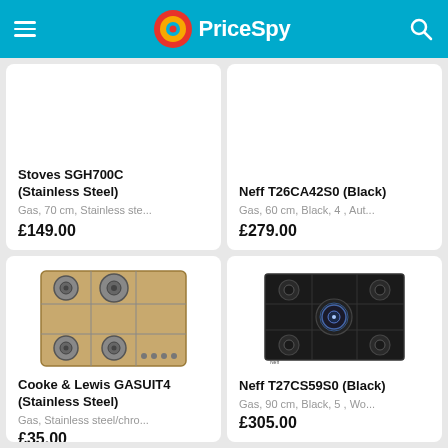PriceSpy
Stoves SGH700C (Stainless Steel)
Gas, 70 cm, Stainless ste...
£149.00
Neff T26CA42S0 (Black)
Gas, 60 cm, Black, 4 , Aut...
£279.00
[Figure (photo): Stainless steel gas hob with 4 burners - Cooke & Lewis GASUIT4]
Cooke & Lewis GASUIT4 (Stainless Steel)
Gas, Stainless steel/chro...
£35.00
[Figure (photo): Black gas hob with 5 burners including wok burner with blue flame - Neff T27CS59S0]
Neff T27CS59S0 (Black)
Gas, 90 cm, Black, 5 , Wo...
£305.00